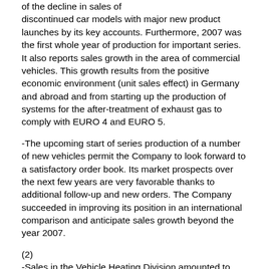of the decline in sales of discontinued car models with major new product launches by its key accounts. Furthermore, 2007 was the first whole year of production for important series. It also reports sales growth in the area of commercial vehicles. This growth results from the positive economic environment (unit sales effect) in Germany and abroad and from starting up the production of systems for the after-treatment of exhaust gas to comply with EURO 4 and EURO 5.
-The upcoming start of series production of a number of new vehicles permit the Company to look forward to a satisfactory order book. Its market prospects over the next few years are very favorable thanks to additional follow-up and new orders. The Company succeeded in improving its position in an international comparison and anticipate sales growth beyond the year 2007.
(2)
-Sales in the Vehicle Heating Division amounted to EUR 336.6 million in 2007, i.e. up 3 % on the prior year. However, the domestic OEM vehicle business and the trading business reported slight declines in sales. The decline in the number of new vehicle registrations made an impact on the domestic trading business. This was, however, offset by other market segments such as